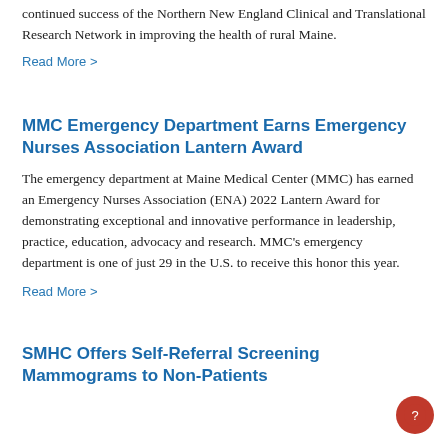continued success of the Northern New England Clinical and Translational Research Network in improving the health of rural Maine.
Read More >
MMC Emergency Department Earns Emergency Nurses Association Lantern Award
The emergency department at Maine Medical Center (MMC) has earned an Emergency Nurses Association (ENA) 2022 Lantern Award for demonstrating exceptional and innovative performance in leadership, practice, education, advocacy and research. MMC's emergency department is one of just 29 in the U.S. to receive this honor this year.
Read More >
SMHC Offers Self-Referral Screening Mammograms to Non-Patients